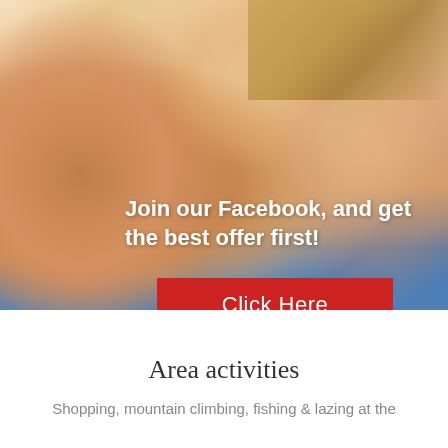[Figure (photo): A smiling family of three — a man on the left, a young child in the middle on the man's shoulders, and a woman wearing sunglasses and a straw hat on the right — photographed outdoors in bright sunlight.]
Join our Facebook, and get the best offer first!
Click Here
Area activities
Shopping, mountain climbing, fishing & lazing at the